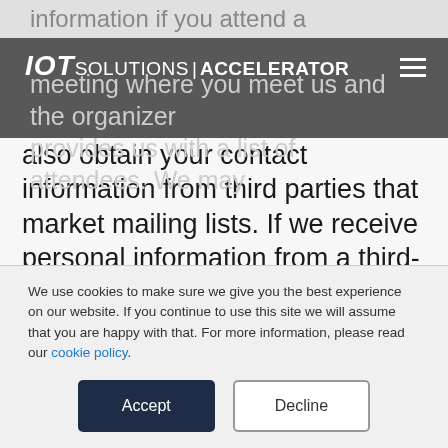IOT SOLUTIONS | ACCELERATOR
information if you attend a conference or meeting where you meet us and the organizer provides us with a list of attendees. We may also obtain your contact information from third parties that market mailing lists. If we receive personal information from a third-party source and/or if we combine the information we receive from these third-party sources with your personal information, we will treat that information as personal
We use cookies to make sure we give you the best experience on our website. If you continue to use this site we will assume that you are happy with that. For more information, please read our cookie policy.